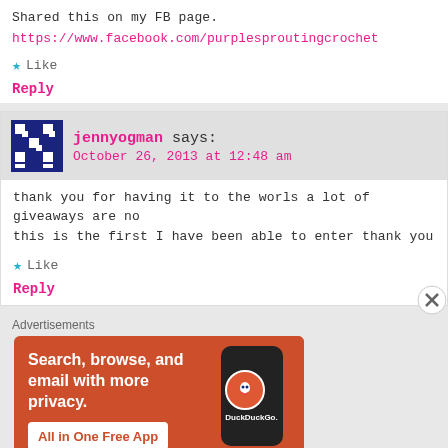Shared this on my FB page.
https://www.facebook.com/purplesproutingcrochet
Like
Reply
jennyogman says: October 26, 2013 at 12:48 am
thank you for having it to the worls a lot of giveaways are no this is the first I have been able to enter thank you
Like
Reply
Advertisements
[Figure (screenshot): DuckDuckGo advertisement banner: orange background with text 'Search, browse, and email with more privacy. All in One Free App' and a phone mockup showing the DuckDuckGo logo.]